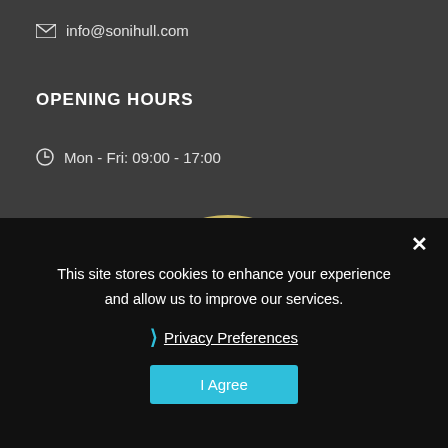info@sonihull.com
OPENING HOURS
Mon - Fri: 09:00 - 17:00
[Figure (logo): Seatrade Awards 30th anniversary finalist 2018 circular badge with gold feather/trophy icon on dark green background]
This site stores cookies to enhance your experience and allow us to improve our services.
Privacy Preferences
I Agree